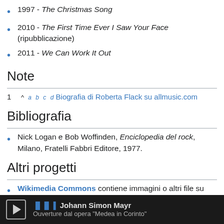1997 - The Christmas Song
2010 - The First Time Ever I Saw Your Face (ripubblicazione)
2011 - We Can Work It Out
Note
1 ^ a b c d Biografia di Roberta Flack su allmusic.com
Bibliografia
Nick Logan e Bob Woffinden, Enciclopedia del rock, Milano, Fratelli Fabbri Editore, 1977.
Altri progetti
Wikimedia Commons contiene immagini o altri file su Roberta Flack
Collegamenti esterni
Johann Simon Mayr — Ouverture dal opera "Medea in Corinto"